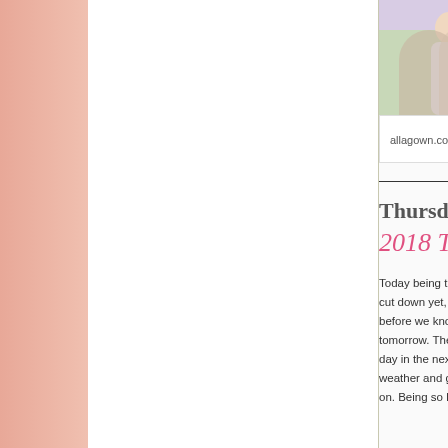[Figure (photo): Partial view of a photo showing people, cropped at right edge of page]
allagown.co
Thursday,
2018 Tech
Today being the cut down yet, we before we know tomorrow. The w day in the next 7 weather and get on. Being so beh